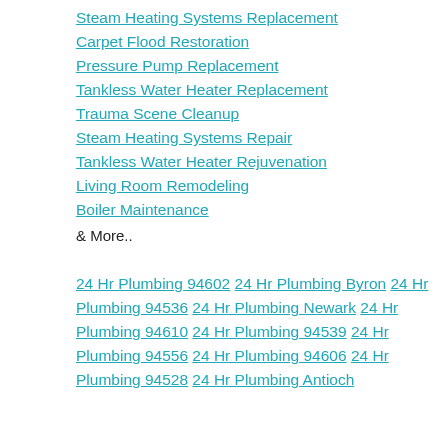Steam Heating Systems Replacement
Carpet Flood Restoration
Pressure Pump Replacement
Tankless Water Heater Replacement
Trauma Scene Cleanup
Steam Heating Systems Repair
Tankless Water Heater Rejuvenation
Living Room Remodeling
Boiler Maintenance
& More..
24 Hr Plumbing 94602 24 Hr Plumbing Byron 24 Hr Plumbing 94536 24 Hr Plumbing Newark 24 Hr Plumbing 94610 24 Hr Plumbing 94539 24 Hr Plumbing 94556 24 Hr Plumbing 94606 24 Hr Plumbing 94528 24 Hr Plumbing Antioch